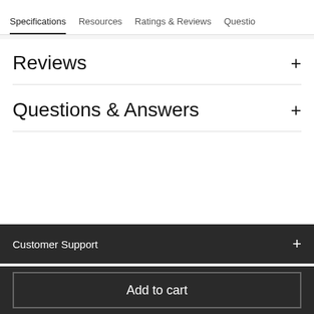Specifications  Resources  Ratings & Reviews  Questions
Reviews
Questions & Answers
Customer Support
Add to cart